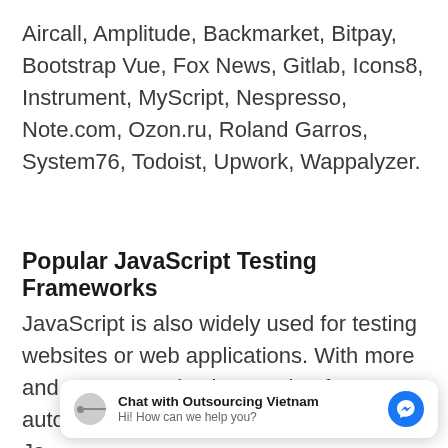Aircall, Amplitude, Backmarket, Bitpay, Bootstrap Vue, Fox News, Gitlab, Icons8, Instrument, MyScript, Nespresso, Note.com, Ozon.ru, Roland Garros, System76, Todoist, Upwork, Wappalyzer.
Popular JavaScript Testing Frameworks
JavaScript is also widely used for testing websites or web applications. With more and more organizations opting for automation testing, Ja... in... and End-to-End testing.
[Figure (screenshot): A chat widget overlay showing 'Chat with Outsourcing Vietnam' with subtitle 'Hi! How can we help you?' and a blue Messenger icon button.]